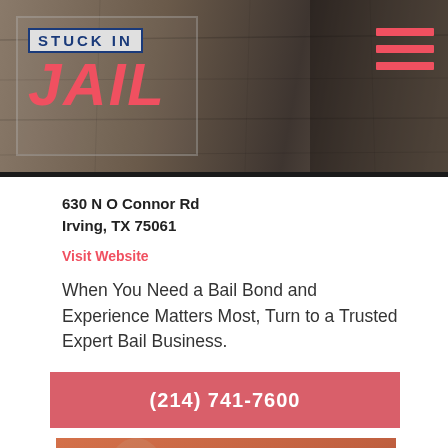[Figure (screenshot): Header banner with stone/concrete wall background texture, dark brownish-gray tones]
[Figure (logo): Stuck In Jail logo: 'STUCK IN' in blue on light background, 'JAIL' in large pink/red italic letters, within a bordered box]
[Figure (other): Hamburger menu icon with three pink/red horizontal lines in upper right of header]
630 N O Connor Rd
Irving, TX 75061
Visit Website
When You Need a Bail Bond and Experience Matters Most, Turn to a Trusted Expert Bail Business.
(214) 741-7600
[Figure (photo): Photo of a wooden judge's gavel on a surface with a blurred Lady Justice statue in the background, warm orange/brown tones]